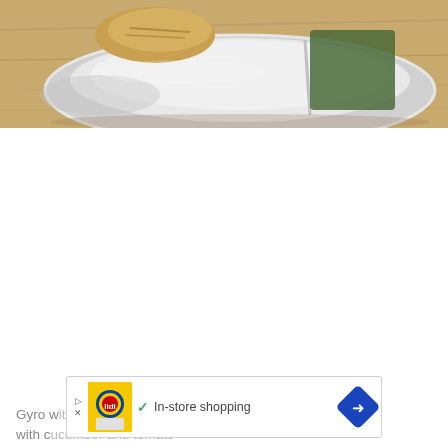[Figure (photo): Close-up photo of a stainless steel oval tray/bowl on a wooden cutting board surface, containing what appears to be pita bread and a green item (possibly a napkin or herb). The stainless steel bowl is shiny and reflects light.]
[Figure (infographic): Advertisement banner: Lidl store ad with yellow background logo image, green checkmark, text 'In-store shopping', blue diamond-shaped arrow icon, close/skip buttons (triangle play and X)]
Gyro w... ta, with c...